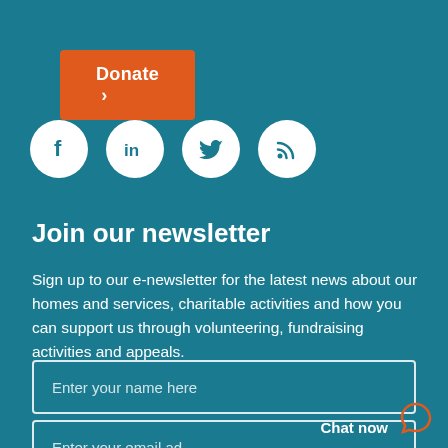[Figure (other): Orange Donate button with chevron/arrow]
[Figure (other): Four white social media icon circles: Facebook, LinkedIn, Twitter, RSS feed]
Join our newsletter
Sign up to our e-newsletter for the latest news about our homes and services, charitable activities and how you can support us through volunteering, fundraising activities and appeals.
Enter your name here
Enter your email ad
Chat now